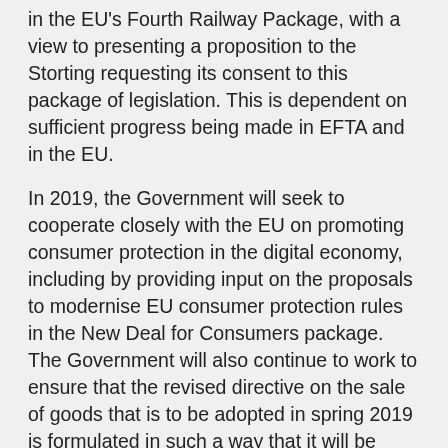in the EU's Fourth Railway Package, with a view to presenting a proposition to the Storting requesting its consent to this package of legislation. This is dependent on sufficient progress being made in EFTA and in the EU.
In 2019, the Government will seek to cooperate closely with the EU on promoting consumer protection in the digital economy, including by providing input on the proposals to modernise EU consumer protection rules in the New Deal for Consumers package. The Government will also continue to work to ensure that the revised directive on the sale of goods that is to be adopted in spring 2019 is formulated in such a way that it will be possible to maintain the Norwegian rules on a five-year guarantee period for products that are meant to have a long lifetime.
The EU has recently adopted a new Animal Health Law,